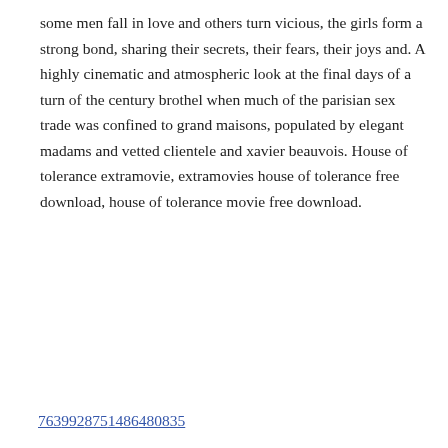some men fall in love and others turn vicious, the girls form a strong bond, sharing their secrets, their fears, their joys and. A highly cinematic and atmospheric look at the final days of a turn of the century brothel when much of the parisian sex trade was confined to grand maisons, populated by elegant madams and vetted clientele and xavier beauvois. House of tolerance extramovie, extramovies house of tolerance free download, house of tolerance movie free download.
763
992
875
1486
480
835